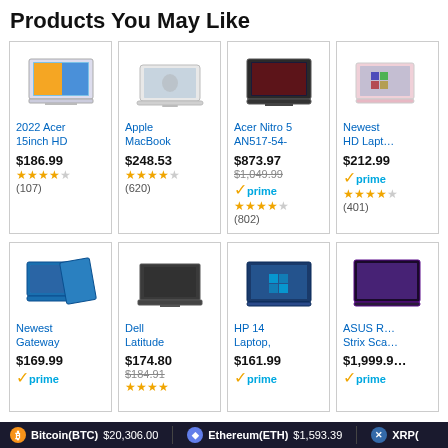Products You May Like
[Figure (screenshot): Product grid showing laptops for sale with prices, ratings, and prime badges]
Bitcoin(BTC) $20,306.00  Ethereum(ETH) $1,593.39  XRP(